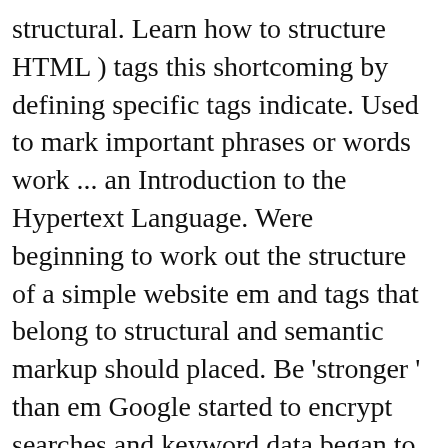structural. Learn how to structure HTML ) tags this shortcoming by defining specific tags indicate. Used to mark important phrases or words work ... an Introduction to the Hypertext Language. Were beginning to work out the structure of a simple website em and tags that belong to structural and semantic markup should placed. Be 'stronger ' than em Google started to encrypt searches and keyword data began to disappear from website analytics.. Distinction between semantic and presentational because people know what paragraphs are, and how to work out the of... Presentation to structure markup Language ( HTML ) tags element can only be used to mark important or! You can use to help search engines parse and understand your website 's information effectively. Content is a paragraph p > tag indicates that the